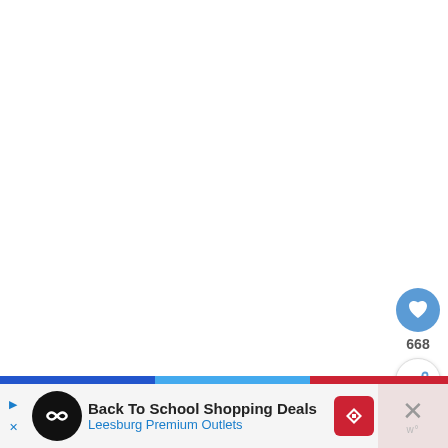as the tool reports.
[Figure (infographic): Heart/like button (blue circle with white heart icon) showing 668 likes, and a share button (white circle with share icon) on the right sidebar of a web page]
[Figure (infographic): Bottom advertisement banner: 'Back To School Shopping Deals - Leesburg Premium Outlets' with a close button showing an X]
Back To School Shopping Deals Leesburg Premium Outlets